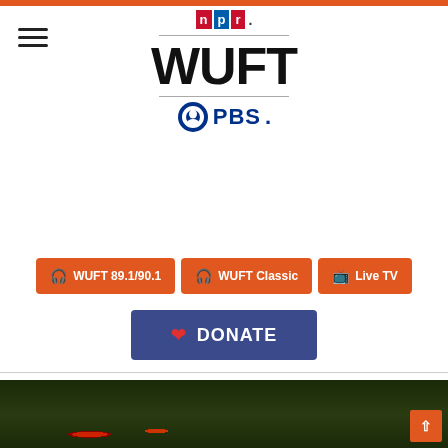[Figure (logo): WUFT NPR PBS logo — NPR colored blocks on top, WUFT in large bold text, PBS logo below]
[Figure (logo): Hamburger menu icon (three horizontal lines) on upper left]
WUFT 89.1/90.1
WUFT Classic
Live TV
DONATE
Home / Law and public safety / Gainesville Police Officer Scott Baird Was Killed 20 Years Ago, And His Mother Still Thinks Of Him Daily
[Figure (photo): Bottom strip of a photo showing Christmas ornaments (red balls) hanging on a tree with blurred dark foliage background]